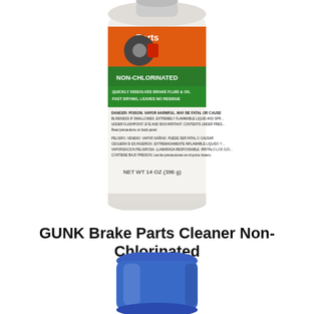[Figure (photo): Top portion of a GUNK Parts Cleaner Non-Chlorinated aerosol spray can. The can is white with an orange and green label. The label reads 'NON-CHLORINATED', shows a brake disc and red caliper, and text 'QUICKLY DISSOLVES BRAKE FLUID & OIL, FAST DRYING, LEAVES NO RESIDUE'. Danger warnings in English and Spanish are printed on the lower portion. Net weight: 14 OZ (396 g).]
GUNK Brake Parts Cleaner Non-Chlorinated
[Figure (photo): Bottom portion of an aerosol spray can with a blue cap/nozzle area, showing only the top blue portion of another can.]